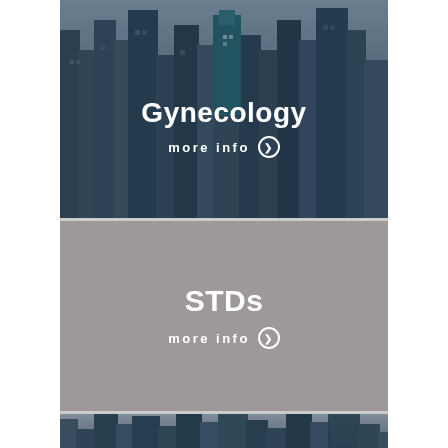[Figure (photo): Aerial view of city skyscrapers with dark overlay, displaying 'Gynecology' title and 'more info' link in white text centered on the image]
[Figure (illustration): Gray solid color panel displaying 'STDs' title and 'more info' link in white text centered]
[Figure (photo): Partial aerial view of city buildings at bottom of page, partially visible]